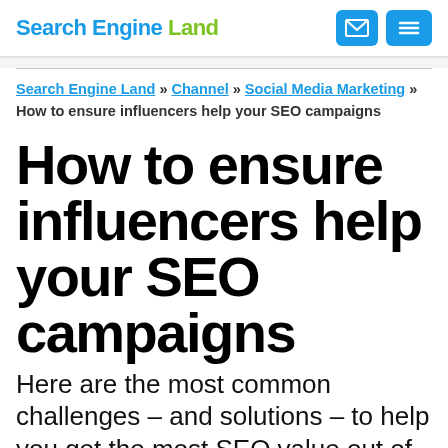Search Engine Land
Search Engine Land » Channel » Social Media Marketing » How to ensure influencers help your SEO campaigns
How to ensure influencers help your SEO campaigns
Here are the most common challenges – and solutions – to help you get the most SEO value out of working with influencers: